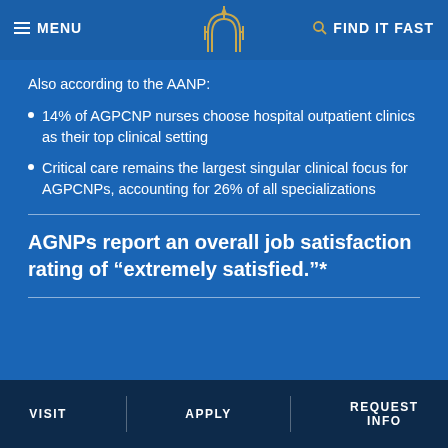MENU | FIND IT FAST
Also according to the AANP:
14% of AGPCNP nurses choose hospital outpatient clinics as their top clinical setting
Critical care remains the largest singular clinical focus for AGPCNPs, accounting for 26% of all specializations
AGNPs report an overall job satisfaction rating of “extremely satisfied.”*
VISIT   APPLY   REQUEST INFO